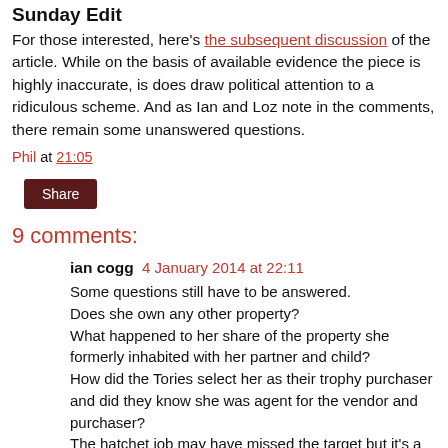Sunday Edit
For those interested, here's the subsequent discussion of the article. While on the basis of available evidence the piece is highly inaccurate, is does draw political attention to a ridiculous scheme. And as Ian and Loz note in the comments, there remain some unanswered questions.
Phil at 21:05
Share
9 comments:
ian cogg 4 January 2014 at 22:11
Some questions still have to be answered.
Does she own any other property?
What happened to her share of the property she formerly inhabited with her partner and child?
How did the Tories select her as their trophy purchaser and did they know she was agent for the vendor and purchaser?
The hatchet job may have missed the target but it's a bit